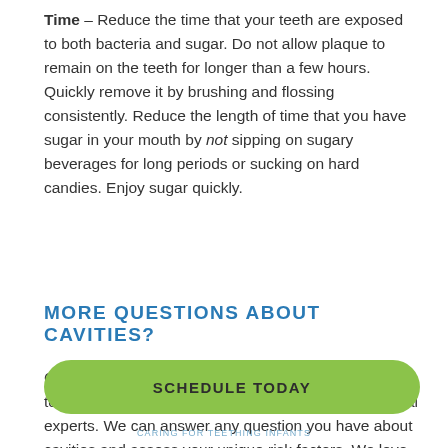Time – Reduce the time that your teeth are exposed to both bacteria and sugar. Do not allow plaque to remain on the teeth for longer than a few hours. Quickly remove it by brushing and flossing consistently. Reduce the length of time that you have sugar in your mouth by not sipping on sugary beverages for long periods or sucking on hard candies. Enjoy sugar quickly.
MORE QUESTIONS ABOUT CAVITIES?
Call your nearest Premier Dental of Ohio location today to schedule a consultation with one of our dental experts. We can answer any question you have about cavities and assess your unique risk factors. We love helping our patients stop cavities before they start!
[Figure (other): Green rounded rectangle button with text SCHEDULE TODAY]
CARING FOR TEETHING INFANTS